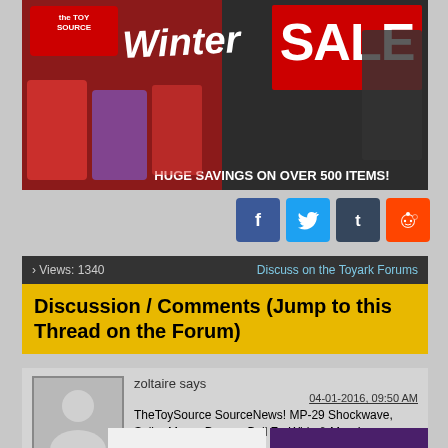[Figure (illustration): The Toy Source Winter Sale banner — colorful toys and action figures with text 'HUGE SAVINGS ON OVER 500 ITEMS!']
[Figure (infographic): Social media icons row: Facebook (blue), Twitter (light blue), Tumblr (dark blue), Reddit (orange)]
› Views: 1340    Discuss on the Toyark Forums
Discussion / Comments (Jump to this Thread on the Forum)
zoltaire says
04-01-2016, 09:50 AM
TheToySource SourceNews! MP-29 Shockwave, Sailor Moon, Dragon Ball Z - Whis & More!
NEW HOT IN STOCK ITEMS:
[Figure (photo): Two Sailor Moon action figures side by side — one with blonde hair on white background, one with dark hair on purple background]